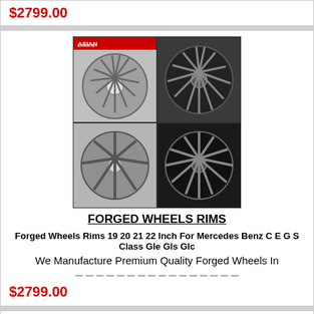$2799.00
[Figure (photo): Four forged wheel rims shown in a 2x2 grid collage. Top-left: silver multi-spoke wheel with Asian Exports branding. Top-right: dark multi-spoke wheel. Bottom-left: silver 8-spoke wheel. Bottom-right: dark 10-spoke wheel.]
FORGED WHEELS RIMS
Forged Wheels Rims 19 20 21 22 Inch For Mercedes Benz C E G S Class Gle Gls Glc
We Manufacture Premium Quality Forged Wheels In
$2799.00
[Figure (photo): Three silver multi-spoke forged wheels on dark background, partially visible at bottom of page.]